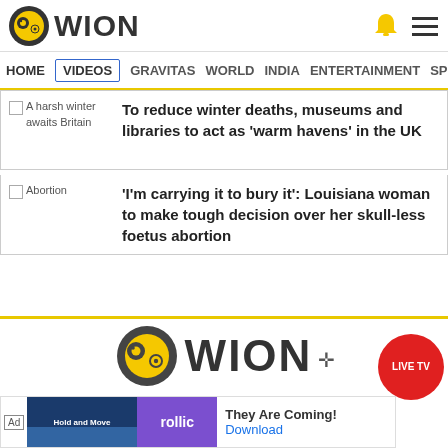[Figure (logo): WION news website header with logo (circular icon with yellow and dark design) and WION text, bell icon, hamburger menu]
HOME | VIDEOS | GRAVITAS | WORLD | INDIA | ENTERTAINMENT | SPORTS
A harsh winter awaits Britain — To reduce winter deaths, museums and libraries to act as 'warm havens' in the UK
Abortion — 'I'm carrying it to bury it': Louisiana woman to make tough decision over her skull-less foetus abortion
[Figure (logo): WION footer logo with circular icon and WION text in large letters]
Advertise with us   About Us   Privacy Po...
[Figure (screenshot): Ad banner: Rollic game ad showing 'They Are Coming!' with Download link]